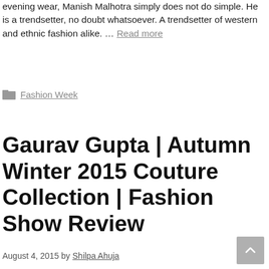evening wear, Manish Malhotra simply does not do simple. He is a trendsetter, no doubt whatsoever. A trendsetter of western and ethnic fashion alike. … Read more
Fashion Week
Gaurav Gupta | Autumn Winter 2015 Couture Collection | Fashion Show Review
August 4, 2015 by Shilpa Ahuja